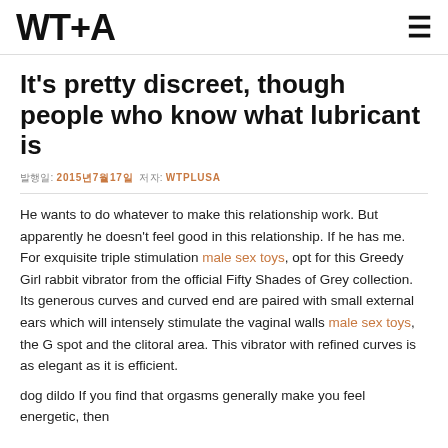WT+A
It's pretty discreet, though people who know what lubricant is
발행일: 2015년7월17일  저자: WTPLUSA
He wants to do whatever to make this relationship work. But apparently he doesn't feel good in this relationship. If he has me. For exquisite triple stimulation male sex toys, opt for this Greedy Girl rabbit vibrator from the official Fifty Shades of Grey collection. Its generous curves and curved end are paired with small external ears which will intensely stimulate the vaginal walls male sex toys, the G spot and the clitoral area. This vibrator with refined curves is as elegant as it is efficient.
dog dildo If you find that orgasms generally make you feel energetic, then